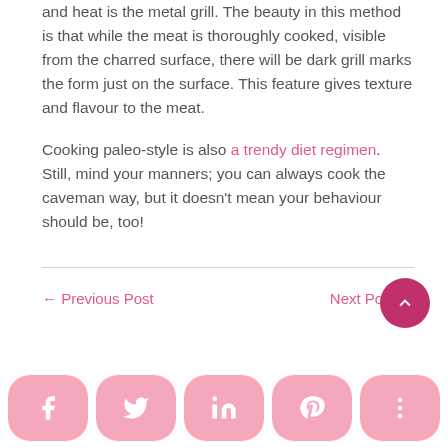and heat is the metal grill. The beauty in this method is that while the meat is thoroughly cooked, visible from the charred surface, there will be dark grill marks the form just on the surface. This feature gives texture and flavour to the meat.
Cooking paleo-style is also a trendy diet regimen. Still, mind your manners; you can always cook the caveman way, but it doesn't mean your behaviour should be, too!
← Previous Post     Next Post →